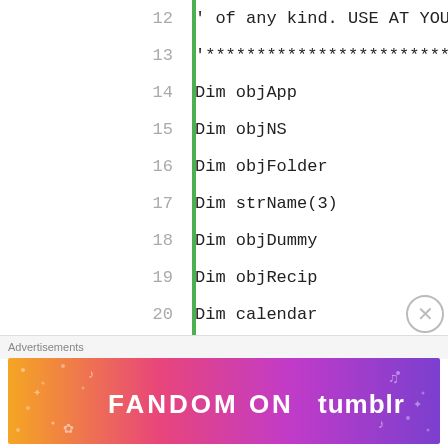[Figure (screenshot): Code editor screenshot showing VBScript/VBA code lines 12-33 with green vertical bar and line numbers. Lines show variable declarations (Dim objApp, objNS, objFolder, strName(3), objDummy, objRecip, calendar), string assignments (strName(0-3) = "RESOURCEACCOUNTNAME..."), constants (Const olMailItem = 0, Const olFolderCalendar = 9), and comments about checking if Outlook is open.]
Advertisements
[Figure (illustration): Fandom on Tumblr advertisement banner with colorful gradient background (orange, pink, purple) and decorative icons. White bold text reads 'FANDOM ON tumblr'.]